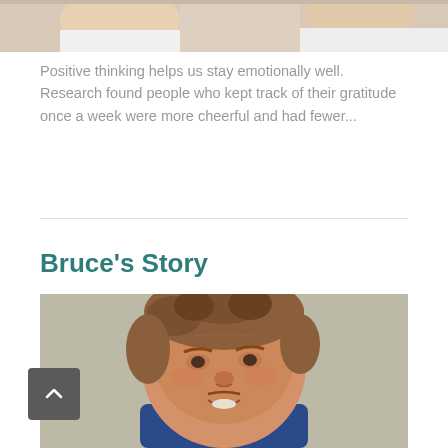[Figure (photo): Top portion of a photo showing people, cropped at the top of the page]
Positive thinking helps us stay emotionally well. Research found people who kept track of their gratitude once a week were more cheerful and had fewer...
Bruce's Story
[Figure (photo): Portrait photo of Bruce, a middle-aged man with curly reddish-brown hair, smiling, wearing a blue shirt]